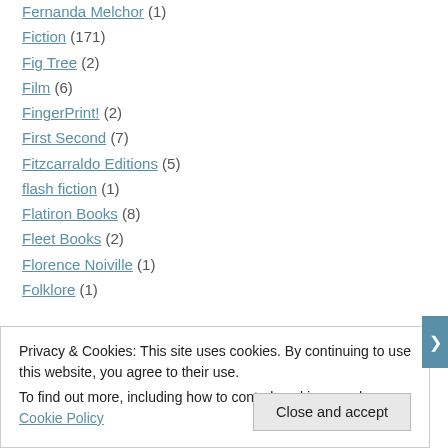Fernanda Melchor (1)
Fiction (171)
Fig Tree (2)
Film (6)
FingerPrint! (2)
First Second (7)
Fitzcarraldo Editions (5)
flash fiction (1)
Flatiron Books (8)
Fleet Books (2)
Florence Noiville (1)
Folklore (1)
Privacy & Cookies: This site uses cookies. By continuing to use this website, you agree to their use. To find out more, including how to control cookies, see here: Cookie Policy